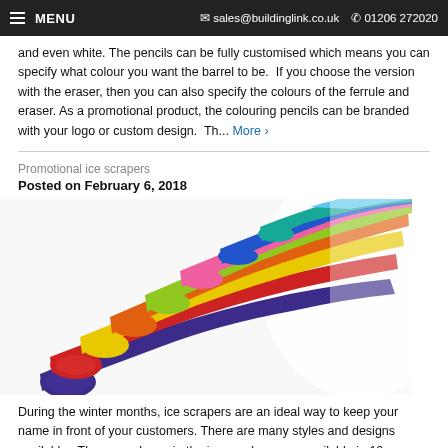MENU   sales@buildinglink.co.uk   01206 272020
and even white. The pencils can be fully customised which means you can specify what colour you want the barrel to be.  If you choose the version with the eraser, then you can also specify the colours of the ferrule and eraser. As a promotional product, the colouring pencils can be branded with your logo or custom design.  Th...  More ›
Promotional ice scrapers
Posted on February 6, 2018
[Figure (photo): A fan of colorful ice scrapers in various colors including blue, pink, red, orange, yellow, green, teal, and purple arranged in a sweeping pattern against a white background.]
During the winter months, ice scrapers are an ideal way to keep your name in front of your customers. There are many styles and designs available.  The ones shown in the image above are available in 10 different colours and they have a large print area to personalise with your logo.  The lead time for many of our promotional ice scrapers is just 5 days, so you'd be able to have them before the current cold snap passes. For more information about personalised